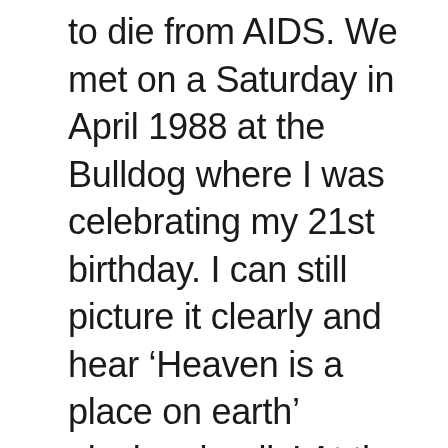to die from AIDS. We met on a Saturday in April 1988 at the Bulldog where I was celebrating my 21st birthday. I can still picture it clearly and hear ‘Heaven is a place on earth’ playing, loudly! At the time, I was an aspiring clone, and Gary, 11 years older, had fully achieved clone status! I was drawn to his seductive smile, sparkling